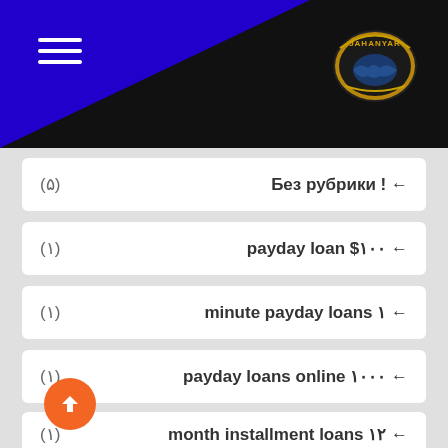[Figure (logo): Jahanyar logo badge in gold on dark background with hamburger menu icon]
Без рубрики ! (۵)
payday loan $۱۰۰ (۱)
minute payday loans ۱ (۱)
payday loans online ۱۰۰۰ (۱)
month installment loans ۱۲ (۱)